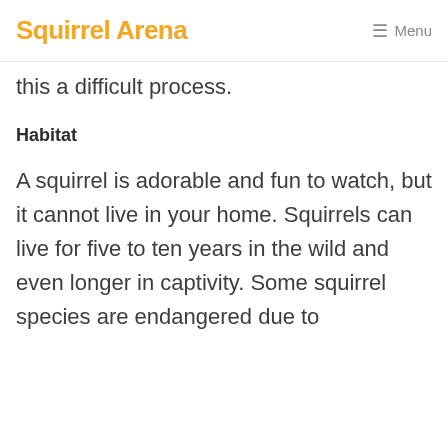Squirrel Arena  ☰ Menu
this a difficult process.
Habitat
A squirrel is adorable and fun to watch, but it cannot live in your home. Squirrels can live for five to ten years in the wild and even longer in captivity. Some squirrel species are endangered due to